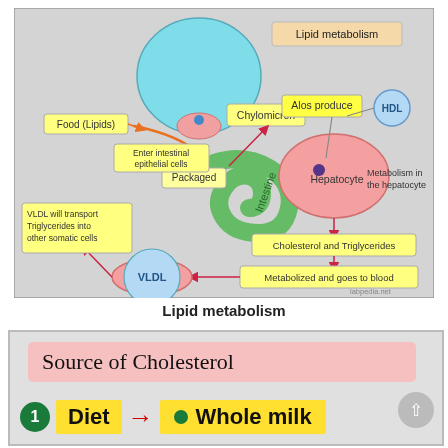[Figure (schematic): Lipid metabolism diagram showing the pathway of lipids from food through intestinal epithelial cells, packaged into chylomicrons, through the intestine to the hepatocyte, with cholesterol and triglycerides metabolized in the hepatocyte, converted to VLDL which transports triglycerides to other somatic cells, and HDL also shown. Labels include: Food (Lipids), Enter intestinal epithelial cells, Packaged, Chylomicron, Intestine, Alos produce, Hepatocyte, HDL, Metabolism in the hepatocyte, Cholesterol and Triglycerides, Metabolized and goes to blood, VLDL will transport Triglycerides into other somatic cells, VLDL. Watermark: labpedia.net]
Lipid metabolism
[Figure (infographic): Infographic showing Source of Cholesterol. Item 1: Diet → Whole milk (with green bullet). Partially visible, cut off at bottom of page.]